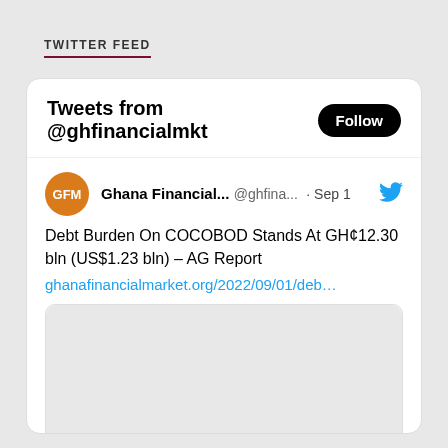TWITTER FEED
[Figure (screenshot): Twitter feed widget showing tweets from @ghfinancialmkt with a Follow button, and one tweet from Ghana Financial... @ghfina... Sep 1 about Debt Burden On COCOBOD Stands At GH¢12.30 bln (US$1.23 bln) – AG Report with link ghanafinancialmarket.org/2022/09/01/deb... and a link preview card showing ghanafinancialmarket.org and Debt Burden On COCOBOD Stands At]